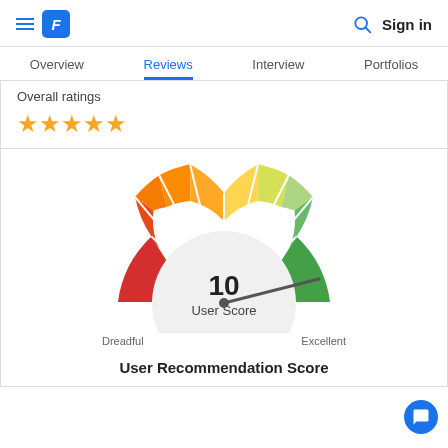Sign in
Overview  Reviews  Interview  Portfolios
Overall ratings
[Figure (other): Five gold star rating icons]
[Figure (other): Semicircular gauge/speedometer showing User Score of 10, ranging from Dreadful to Excellent, needle pointing near Excellent]
User Recommendation Score